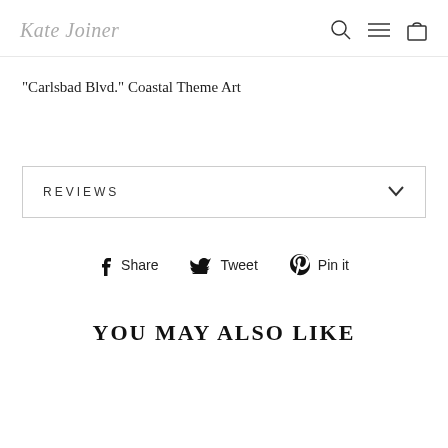Kate Joiner
"Carlsbad Blvd." Coastal Theme Art
REVIEWS
Share  Tweet  Pin it
YOU MAY ALSO LIKE